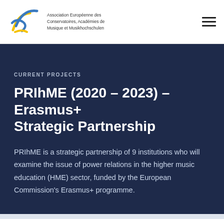[Figure (logo): AEC logo: stylized blue and yellow abstract design with text 'Association Européenne des Conservatoires, Académies de Musique et Musikhochschulen']
Association Européenne des Conservatoires, Académies de Musique et Musikhochschulen
CURRENT PROJECTS
PRIhME (2020 – 2023) – Erasmus+ Strategic Partnership
PRIhME is a strategic partnership of 9 institutions who will examine the issue of power relations in the higher music education (HME) sector, funded by the European Commission's Erasmus+ programme.